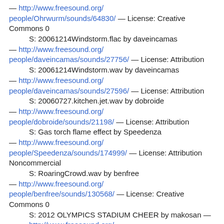— http://www.freesound.org/people/Ohrwurm/sounds/64830/ — License: Creative Commons 0
S: 20061214Windstorm.flac by daveincamas — http://www.freesound.org/people/daveincamas/sounds/27756/ — License: Attribution
S: 20061214Windstorm.wav by daveincamas — http://www.freesound.org/people/daveincamas/sounds/27596/ — License: Attribution
S: 20060727.kitchen.jet.wav by dobroide — http://www.freesound.org/people/dobroide/sounds/21198/ — License: Attribution
S: Gas torch flame effect by Speedenza — http://www.freesound.org/people/Speedenza/sounds/174999/ — License: Attribution Noncommercial
S: RoaringCrowd.wav by benfree — http://www.freesound.org/people/benfree/sounds/130568/ — License: Creative Commons 0
S: 2012 OLYMPICS STADIUM CHEER by makosan — http://www.freesound.org/